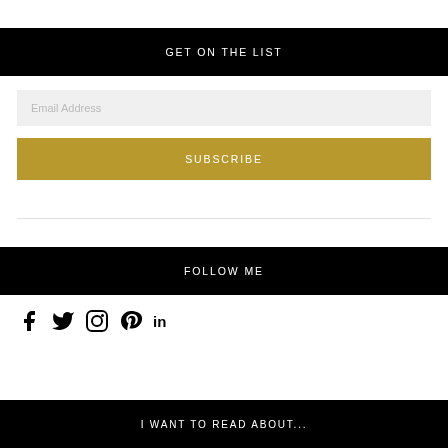GET ON THE LIST
Email Address
SUBSCRIBE
FOLLOW ME
[Figure (infographic): Social media icons: Facebook, Twitter, Instagram, Pinterest, LinkedIn]
I WANT TO READ ABOUT...